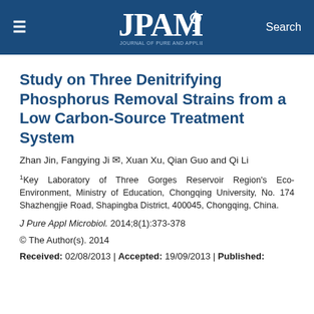JPAM — Journal of Pure and Applied Microbiology
Study on Three Denitrifying Phosphorus Removal Strains from a Low Carbon-Source Treatment System
Zhan Jin, Fangying Ji [envelope icon], Xuan Xu, Qian Guo and Qi Li
¹Key Laboratory of Three Gorges Reservoir Region's Eco-Environment, Ministry of Education, Chongqing University, No. 174 Shazhengjie Road, Shapingba District, 400045, Chongqing, China.
J Pure Appl Microbiol. 2014;8(1):373-378
© The Author(s). 2014
Received: 02/08/2013 | Accepted: 19/09/2013 | Published: